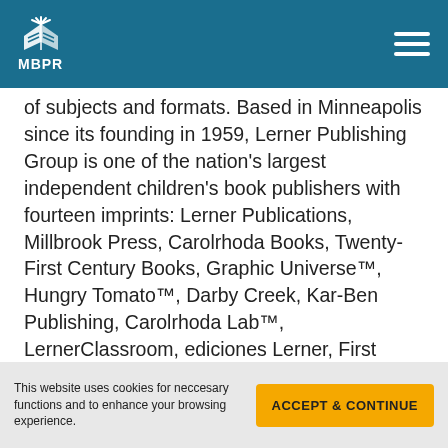MBPR
of subjects and formats. Based in Minneapolis since its founding in 1959, Lerner Publishing Group is one of the nation's largest independent children's book publishers with fourteen imprints: Lerner Publications, Millbrook Press, Carolrhoda Books, Twenty-First Century Books, Graphic Universe™, Hungry Tomato™, Darby Creek, Kar-Ben Publishing, Carolrhoda Lab™, LernerClassroom, ediciones Lerner, First Avenue Editions, Lerner Digital™, and Zest Books™, as well as Lerner Publisher Services. Internships offered: Marketing; Design; Digital & Editorial Compensation offered: Hourly
This website uses cookies for neccesary functions and to enhance your browsing experience.